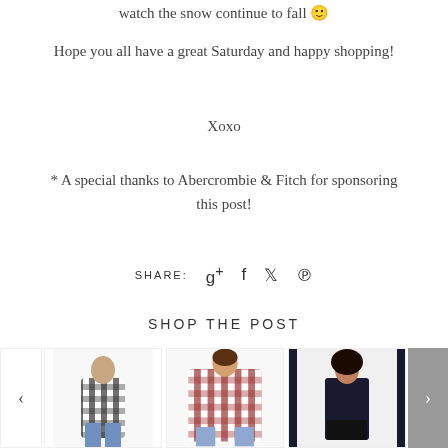watch the snow continue to fall 🙂
Hope you all have a great Saturday and happy shopping!
Xoxo
* A special thanks to Abercrombie & Fitch for sponsoring this post!
SHARE: g+ f t p
SHOP THE POST
[Figure (photo): Three product photos of women's shirts in a shopping carousel with left and right navigation arrows]